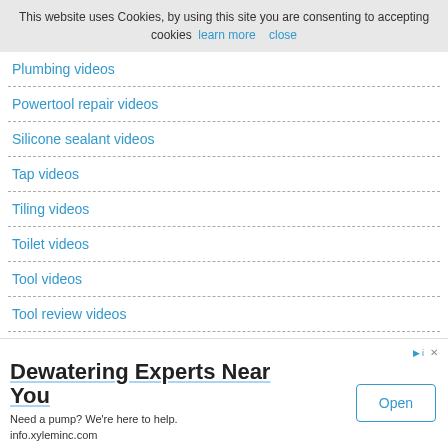This website uses Cookies, by using this site you are consenting to accepting cookies  learn more  close
Plumbing videos
Powertool repair videos
Silicone sealant videos
Tap videos
Tiling videos
Toilet videos
Tool videos
Tool review videos
Woodworking videos
Vehicle repair videos
[Figure (other): Chevron/scroll down button]
Dewatering Experts Near You
Need a pump? We're here to help.
info.xyleminc.com
Open